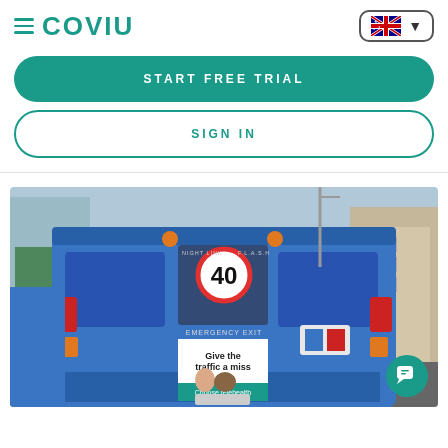COVIU
[Figure (logo): COVIU logo in teal with hamburger menu icon on left and Australian flag country selector on right]
[Figure (other): START FREE TRIAL button - teal rounded pill button]
[Figure (other): SIGN IN button - white rounded pill button with teal border]
[Figure (photo): Photo of the back of a blue Sydney bus in an urban street scene. The bus displays a 40km/h speed limit sign, EMERGENCY EXIT text, and an advertisement that reads 'Give the traffic a miss' and 'Choose telehealth' with the Coviu logo. City buildings are visible in the background.]